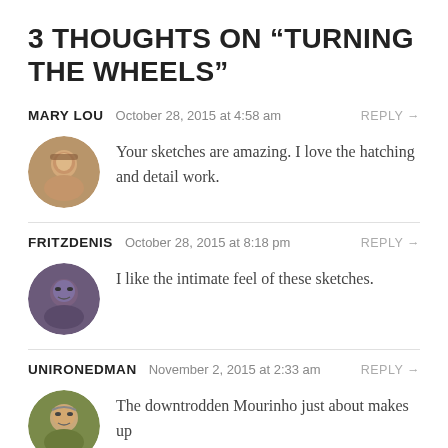3 THOUGHTS ON “TURNING THE WHEELS”
MARY LOU   October 28, 2015 at 4:58 am   REPLY →
Your sketches are amazing. I love the hatching and detail work.
FRITZDENIS   October 28, 2015 at 8:18 pm   REPLY →
I like the intimate feel of these sketches.
UNIRONEDMAN   November 2, 2015 at 2:33 am   REPLY →
The downtrodden Mourinho just about makes up